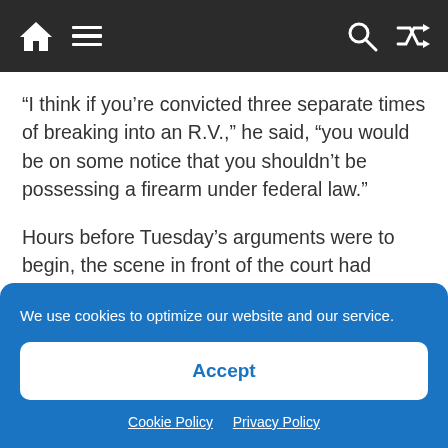Navigation bar with home, menu, search, and shuffle icons
“I think if you’re convicted three separate times of breaking into an R.V.,” he said, “you would be on some notice that you shouldn’t be possessing a firearm under federal law.”
Hours before Tuesday’s arguments were to begin, the scene in front of the court had quieted dramatically from the protests in the same spot in the days after Justice Kavanaugh was
We use cookies to optimize our website and our service.
Accept
Cookie Policy   Privacy Policy